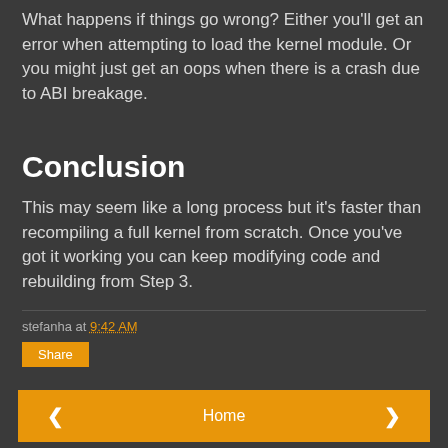What happens if things go wrong? Either you'll get an error when attempting to load the kernel module. Or you might just get an oops when there is a crash due to ABI breakage.
Conclusion
This may seem like a long process but it's faster than recompiling a full kernel from scratch. Once you've got it working you can keep modifying code and rebuilding from Step 3.
stefanha at 9:42 AM
Share
< Home >
View web version
Powered by Blogger.